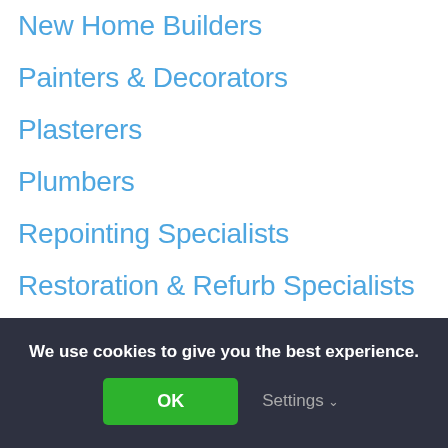New Home Builders
Painters & Decorators
Plasterers
Plumbers
Repointing Specialists
Restoration & Refurb Specialists
Roofers
Security System Installers
Stonemasons
We use cookies to give you the best experience.